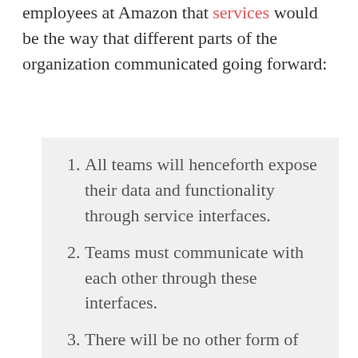employees at Amazon that services would be the way that different parts of the organization communicated going forward:
All teams will henceforth expose their data and functionality through service interfaces.
Teams must communicate with each other through these interfaces.
There will be no other form of interprocess communication allowed: no direct linking, no direct reads of another team's